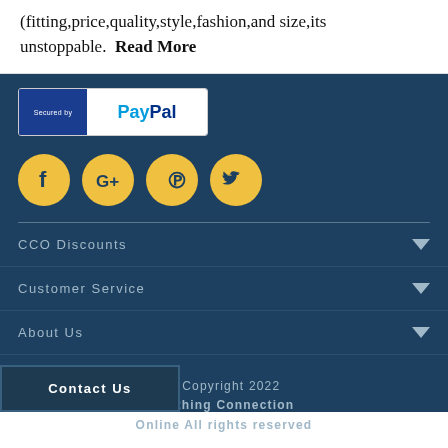(fitting,price,quality,style,fashion,and size,its unstoppable. Read More
[Figure (logo): Secured by PayPal badge with blue background on left and white PayPal logo on right]
[Figure (infographic): Four yellow circular social media icons: Facebook, Google+, Pinterest, Twitter]
CCO Discounts
Customer Service
About Us
© Copyright 2022 Clothing Connection Online All rights reserved
Contact Us